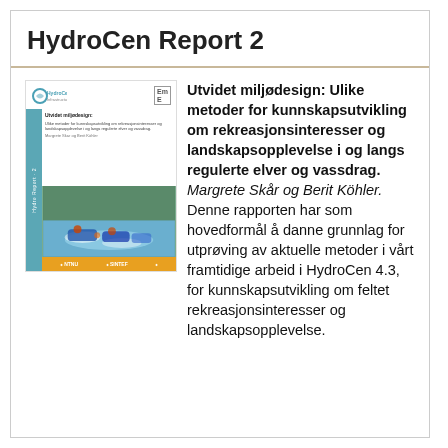HydroCen Report 2
[Figure (photo): Cover of HydroCen Report 2 showing rafting photo, logos of NTNU, SINTEF, and another institution, teal sidebar, and report title text.]
Utvidet miljødesign: Ulike metoder for kunnskapsutvikling om rekreasjonsinteresser og landskapsopplevelse i og langs regulerte elver og vassdrag. Margrete Skår og Berit Köhler. Denne rapporten har som hovedformål å danne grunnlag for utprøving av aktuelle metoder i vårt framtidige arbeid i HydroCen 4.3, for kunnskapsutvikling om feltet rekreasjonsinteresser og landskapsopplevelse.